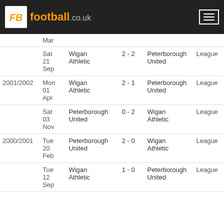FB football.co.uk
| Season | Date | Home | Score | Away | Type |
| --- | --- | --- | --- | --- | --- |
|  | Mar |  |  |  |  |
|  | Sat 21 Sep | Wigan Athletic | 2 - 2 | Peterborough United | League |
| 2001/2002 | Mon 01 Apr | Wigan Athletic | 2 - 1 | Peterborough United | League |
|  | Sat 03 Nov | Peterborough United | 0 - 2 | Wigan Athletic | League |
| 2000/2001 | Tue 20 Feb | Peterborough United | 2 - 0 | Wigan Athletic | League |
|  | Tue 12 Sep | Wigan Athletic | 1 - 0 | Peterborough United | League |